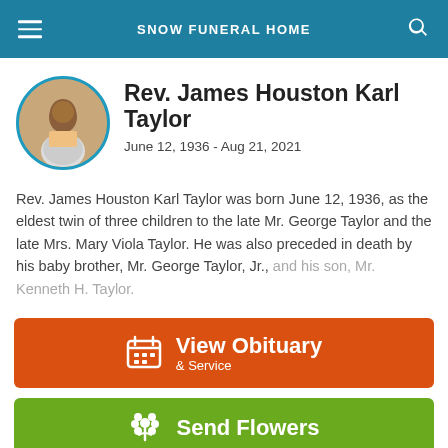SNOW FUNERAL HOME
Rev. James Houston Karl Taylor
June 12, 1936 - Aug 21, 2021
Rev. James Houston Karl Taylor was born June 12, 1936, as the eldest twin of three children to the late Mr. George Taylor and the late Mrs. Mary Viola Taylor. He was also preceded in death by his baby brother, Mr. George Taylor, Jr., and his son, Mr. Kenneth H. Taylor.
View Obituary & Service
Send Flowers